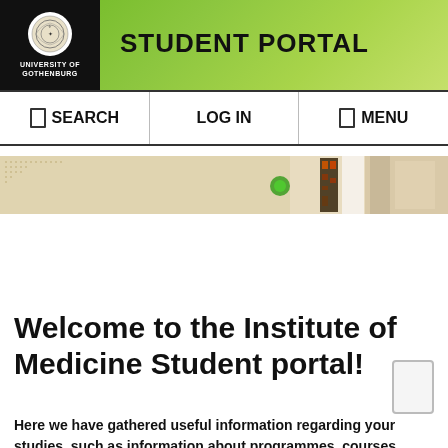STUDENT PORTAL
[Figure (logo): University of Gothenburg seal/crest logo in white circle on black background with text UNIVERSITY OF GOTHENBURG]
SEARCH | LOG IN | MENU
[Figure (photo): Horizontal banner photo strip showing laboratory/microscopy images including cell culture plates, a green fluorescent dot, gel electrophoresis bands, and tissue samples]
Welcome to the Institute of Medicine Student portal!
Here we have gathered useful information regarding your studies, such as information about programmes, courses